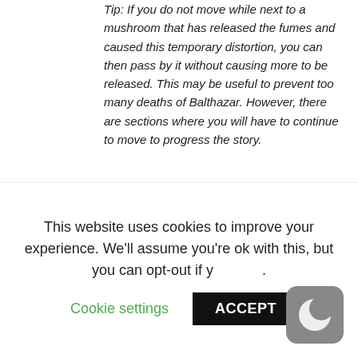Tip: If you do not move while next to a mushroom that has released the fumes and caused this temporary distortion, you can then pass by it without causing more to be released. This may be useful to prevent too many deaths of Balthazar. However, there are sections where you will have to continue to move to progress the story.
[Figure (screenshot): A screenshot from a video game showing a purple-toned environment with vertical striped background, a health/progress bar at the top center, a small dark ball in the center, and a creature with dark fur and pink/magenta elements on the right side.]
This website uses cookies to improve your experience. We'll assume you're ok with this, but you can opt-out if you wish.
Cookie settings
ACCEPT